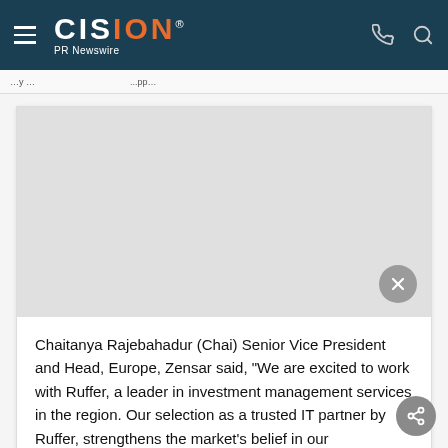CISION PR Newswire
[Figure (other): Advertisement or image placeholder area with gray background and a close (X) button in the bottom-right corner]
Chaitanya Rajebahadur (Chai) Senior Vice President and Head, Europe, Zensar said, “We are excited to work with Ruffer, a leader in investment management services in the region. Our selection as a trusted IT partner by Ruffer, strengthens the market’s belief in our commitment to the European Financial Services sector, our infrastructure and cloud capabilities and our deep understanding of the sector and regional business requirements. We are